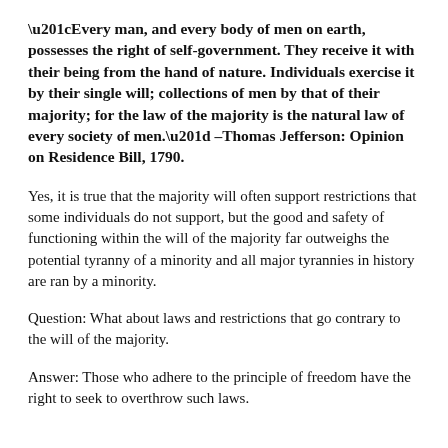“Every man, and every body of men on earth, possesses the right of self-government. They receive it with their being from the hand of nature. Individuals exercise it by their single will; collections of men by that of their majority; for the law of the majority is the natural law of every society of men.” –Thomas Jefferson: Opinion on Residence Bill, 1790.
Yes, it is true that the majority will often support restrictions that some individuals do not support, but the good and safety of functioning within the will of the majority far outweighs the potential tyranny of a minority and all major tyrannies in history are ran by a minority.
Question: What about laws and restrictions that go contrary to the will of the majority.
Answer: Those who adhere to the principle of freedom have the right to seek to overthrow such laws.